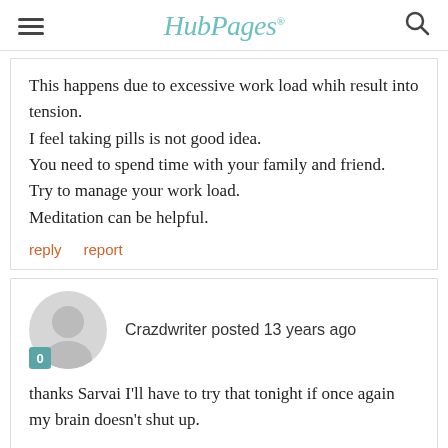HubPages
This happens due to excessive work load whih result into tension.
I feel taking pills is not good idea.
You need to spend time with your family and friend.
Try to manage your work load.
Meditation can be helpful.
reply   report
Crazdwriter posted 13 years ago
thanks Sarvai I'll have to try that tonight if once again my brain doesn't shut up.